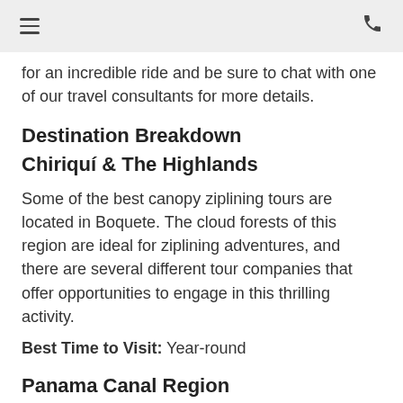for an incredible ride and be sure to chat with one of our travel consultants for more details.
Destination Breakdown
Chiriquí & The Highlands
Some of the best canopy ziplining tours are located in Boquete. The cloud forests of this region are ideal for ziplining adventures, and there are several different tour companies that offer opportunities to engage in this thrilling activity.
Best Time to Visit: Year-round
Panama Canal Region